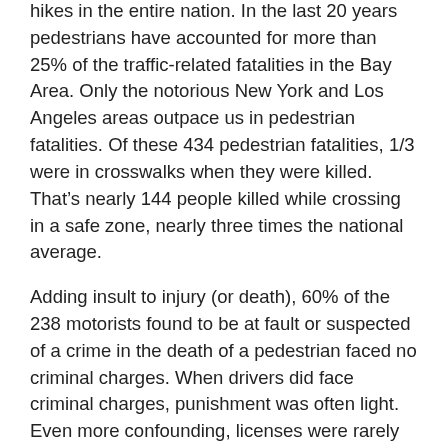hikes in the entire nation. In the last 20 years pedestrians have accounted for more than 25% of the traffic-related fatalities in the Bay Area. Only the notorious New York and Los Angeles areas outpace us in pedestrian fatalities. Of these 434 pedestrian fatalities, 1/3 were in crosswalks when they were killed. That's nearly 144 people killed while crossing in a safe zone, nearly three times the national average.
Adding insult to injury (or death), 60% of the 238 motorists found to be at fault or suspected of a crime in the death of a pedestrian faced no criminal charges. When drivers did face criminal charges, punishment was often light. Even more confounding, licenses were rarely suspended. Of those few people who were charged with a crime, less than 60% had their driving privileges suspended or revoked for even one day. 40% of those convicted faced no more than a day in jail. “If there isn’t a penalty, the message is that it's all right to run people over and kill them,” said Elizabeth Stampe, executive director and the